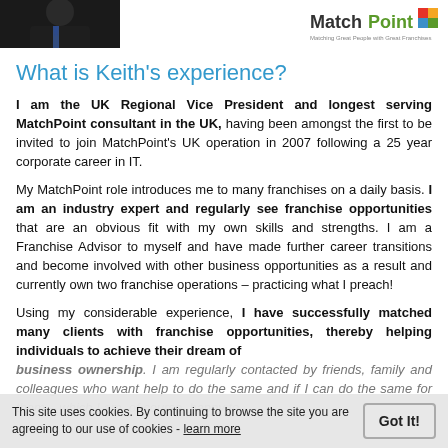[Figure (photo): Partial photo of a man in a dark suit with a blue tie, cropped to show shoulders and lower face only.]
[Figure (logo): MatchPoint logo — 'Match' in dark text, 'Point' in green with colored square icon, tagline 'Matching Great People with Great Franchises']
What is Keith's experience?
I am the UK Regional Vice President and longest serving MatchPoint consultant in the UK, having been amongst the first to be invited to join MatchPoint's UK operation in 2007 following a 25 year corporate career in IT.
My MatchPoint role introduces me to many franchises on a daily basis. I am an industry expert and regularly see franchise opportunities that are an obvious fit with my own skills and strengths. I am a Franchise Advisor to myself and have made further career transitions and become involved with other business opportunities as a result and currently own two franchise operations – practicing what I preach!
Using my considerable experience, I have successfully matched many clients with franchise opportunities, thereby helping individuals to achieve their dream of business ownership. I am regularly contacted by friends, family and colleagues who want help to do the same and if I can do the same for them – which I am, of course, happy to
This site uses cookies. By continuing to browse the site you are agreeing to our use of cookies - learn more